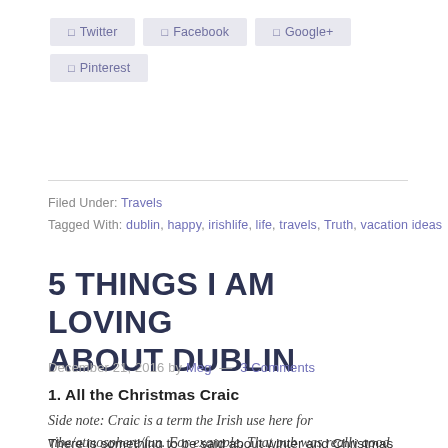🔲 Twitter
🔲 Facebook
🔲 Google+
🔲 Pinterest
Filed Under: Travels
Tagged With: dublin, happy, irishlife, life, travels, Truth, vacation ideas
5 THINGS I AM LOVING ABOUT DUBLIN
December 21, 2016 by Meg — 3 Comments
1. All the Christmas Craic
Side note: Craic is a term the Irish use here for vibe/atmosphere/fun. For example, That pub was really good craic.
There is something to be said about winter and Christmas